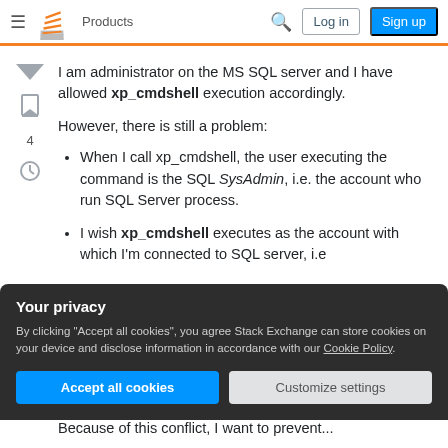Stack Exchange navigation bar with hamburger menu, logo, Products, search, Log in, Sign up
I am administrator on the MS SQL server and I have allowed xp_cmdshell execution accordingly.

However, there is still a problem:

• When I call xp_cmdshell, the user executing the command is the SQL SysAdmin, i.e. the account who run SQL Server process.

• I wish xp_cmdshell executes as the account with which I'm connected to SQL server, i.e
Your privacy

By clicking "Accept all cookies", you agree Stack Exchange can store cookies on your device and disclose information in accordance with our Cookie Policy.

[Accept all cookies] [Customize settings]
Because of this conflict, I want to prevent...